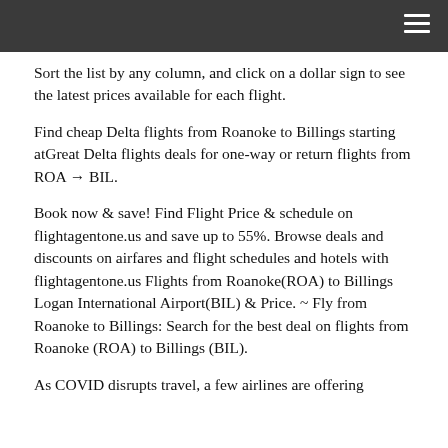Sort the list by any column, and click on a dollar sign to see the latest prices available for each flight.
Find cheap Delta flights from Roanoke to Billings starting atGreat Delta flights deals for one-way or return flights from ROA → BIL.
Book now & save! Find Flight Price & schedule on flightagentone.us and save up to 55%. Browse deals and discounts on airfares and flight schedules and hotels with flightagentone.us Flights from Roanoke(ROA) to Billings Logan International Airport(BIL) & Price. ~ Fly from Roanoke to Billings: Search for the best deal on flights from Roanoke (ROA) to Billings (BIL).
As COVID disrupts travel, a few airlines are offering WAIVING CHANGE FEE from roanoke to Billings. Shop